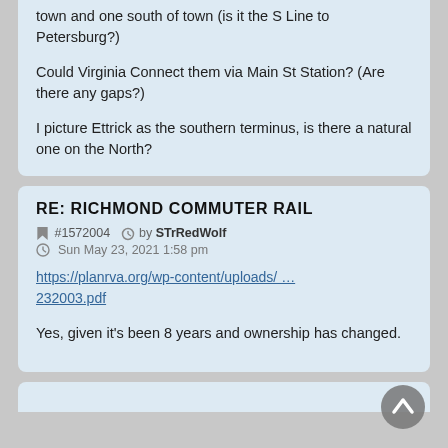town and one south of town (is it the S Line to Petersburg?)

Could Virginia Connect them via Main St Station? (Are there any gaps?)

I picture Ettrick as the southern terminus, is there a natural one on the North?
RE: RICHMOND COMMUTER RAIL
#1572004 by STrRedWolf
Sun May 23, 2021 1:58 pm
https://planrva.org/wp-content/uploads/ … 232003.pdf
Yes, given it's been 8 years and ownership has changed.